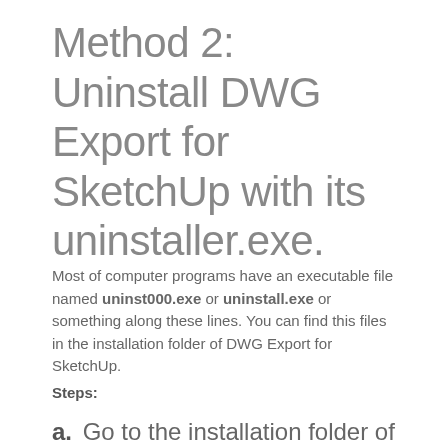Method 2: Uninstall DWG Export for SketchUp with its uninstaller.exe.
Most of computer programs have an executable file named uninst000.exe or uninstall.exe or something along these lines. You can find this files in the installation folder of DWG Export for SketchUp.
Steps:
a. Go to the installation folder of